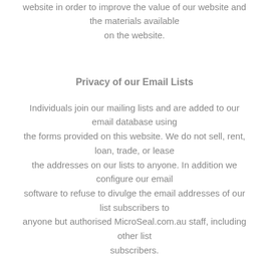website in order to improve the value of our website and the materials available on the website.
Privacy of our Email Lists
Individuals join our mailing lists and are added to our email database using the forms provided on this website. We do not sell, rent, loan, trade, or lease the addresses on our lists to anyone. In addition we configure our email software to refuse to divulge the email addresses of our list subscribers to anyone but authorised MicroSeal.com.au staff, including other list subscribers.
Unsubscribe Policy